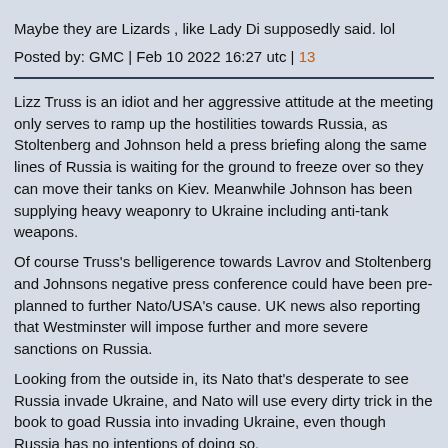Maybe they are Lizards , like Lady Di supposedly said. lol
Posted by: GMC | Feb 10 2022 16:27 utc | 13
Lizz Truss is an idiot and her aggressive attitude at the meeting only serves to ramp up the hostilities towards Russia, as Stoltenberg and Johnson held a press briefing along the same lines of Russia is waiting for the ground to freeze over so they can move their tanks on Kiev. Meanwhile Johnson has been supplying heavy weaponry to Ukraine including anti-tank weapons.
Of course Truss's belligerence towards Lavrov and Stoltenberg and Johnsons negative press conference could have been pre-planned to further Nato/USA's cause. UK news also reporting that Westminster will impose further and more severe sanctions on Russia.
Looking from the outside in, its Nato that's desperate to see Russia invade Ukraine, and Nato will use every dirty trick in the book to goad Russia into invading Ukraine, even though Russia has no intentions of doing so.
Posted by: Republicofscotland | Feb 10 2022 16:33 utc | 14
russia asked a good question there - "Do you recognize the